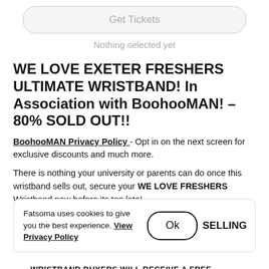[Figure (screenshot): Get Tickets button — rounded pill button with grey border and grey text]
Nothing selected yet
WE LOVE EXETER FRESHERS ULTIMATE WRISTBAND! In Association with BoohooMAN! – 80% SOLD OUT!!
BoohooMAN Privacy Policy - Opt in on the next screen for exclusive discounts and much more.
There is nothing your university or parents can do once this wristband sells out, secure your WE LOVE FRESHERS Wristband now before its too late!
Fatsoma uses cookies to give you the best experience. View Privacy Policy  Ok  SELLING